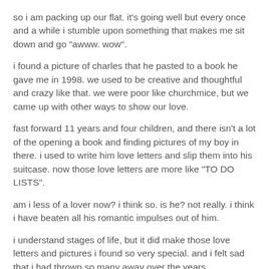so i am packing up our flat. it's going well but every once and a while i stumble upon something that makes me sit down and go "awww. wow".
i found a picture of charles that he pasted to a book he gave me in 1998. we used to be creative and thoughtful and crazy like that. we were poor like churchmice, but we came up with other ways to show our love.
fast forward 11 years and four children, and there isn't a lot of the opening a book and finding pictures of my boy in there. i used to write him love letters and slip them into his suitcase. now those love letters are more like "TO DO LISTS".
am i less of a lover now? i think so. is he? not really. i think i have beaten all his romantic impulses out of him.
i understand stages of life, but it did make those love letters and pictures i found so very special. and i felt sad that i had thrown so many away over the years.
then i remembered that every valentine's day charles makes me a photo collage of the year gone by, a reminder of special moments we have shared. and i felt better, thinking his creativity, like our love, has changed and expanded.